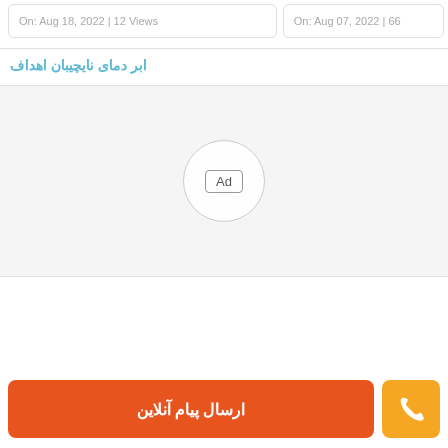On: Aug 18, 2022 | 12 Views
On: Aug 07, 2022 | 66
ابر دمای نایچیبان اهداف
[Figure (other): Advertisement placeholder area with a circular Ad button in the center on a light gray background]
ارسال پیام آنلاین
[Figure (other): Phone icon button in orange square]